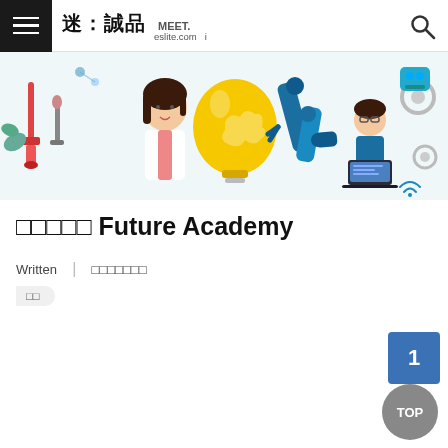迷：誠品 MEET. eslite.com
[Figure (illustration): Colorful educational illustration featuring a female scientist in a lab coat, a large yellow lightbulb, a blue robotic arm, a child working on a laptop, laboratory equipment, gears, molecular structures, and technology icons on a light background.]
□□□□□ Future Academy
Written | □□□□□□□
□□